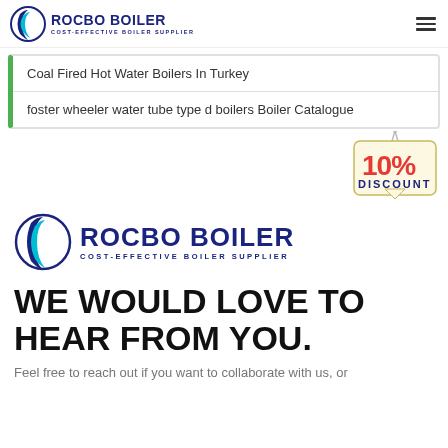ROCBO BOILER COST-EFFECTIVE BOILER SUPPLIER
Coal Fired Hot Water Boilers In Turkey
foster wheeler water tube type d boilers Boiler Catalogue
[Figure (illustration): 10% DISCOUNT badge hanging sign]
[Figure (logo): ROCBO BOILER - COST-EFFECTIVE BOILER SUPPLIER logo with crescent icon]
WE WOULD LOVE TO HEAR FROM YOU.
Feel free to reach out if you want to collaborate with us, or